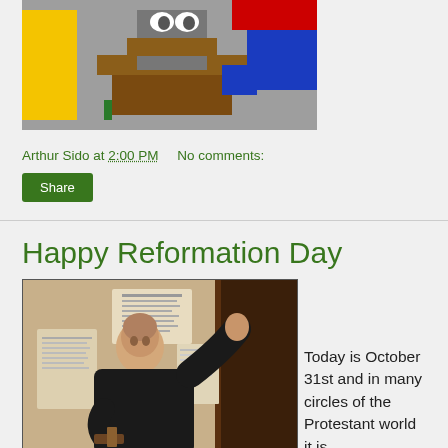[Figure (illustration): Colorful cartoon/illustration of a figure at a podium with yellow, blue, red and grey geometric shapes in background]
Arthur Sido at 2:00 PM    No comments:
Share
Happy Reformation Day
[Figure (illustration): Painting of Martin Luther posting his 95 Theses on a church door, wearing black monk's robe, holding a hammer]
Today is October 31st and in many circles of the Protestant world it is